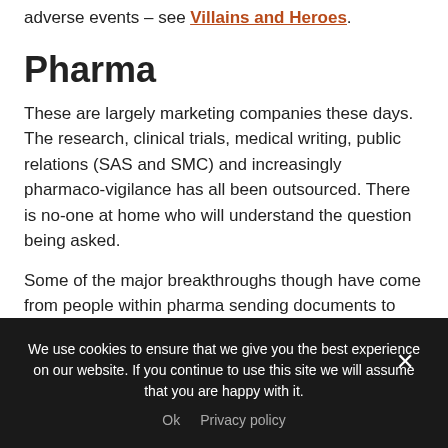adverse events – see Villains and Heroes.
Pharma
These are largely marketing companies these days. The research, clinical trials, medical writing, public relations (SAS and SMC) and increasingly pharmaco-vigilance has all been outsourced.  There is no-one at home who will understand the question being asked.
Some of the major breakthroughs though have come from people within pharma sending documents to
We use cookies to ensure that we give you the best experience on our website. If you continue to use this site we will assume that you are happy with it.
Ok   Privacy policy